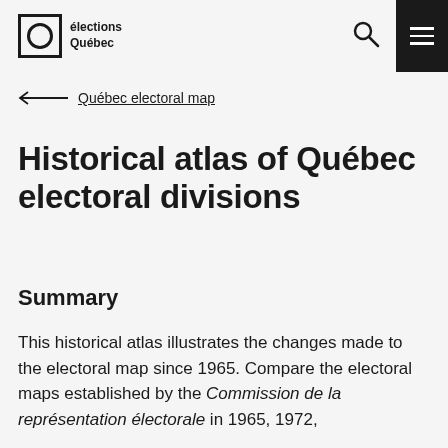élections Québec
← Québec electoral map
Historical atlas of Québec electoral divisions
Summary
This historical atlas illustrates the changes made to the electoral map since 1965. Compare the electoral maps established by the Commission de la représentation électorale in 1965, 1972,